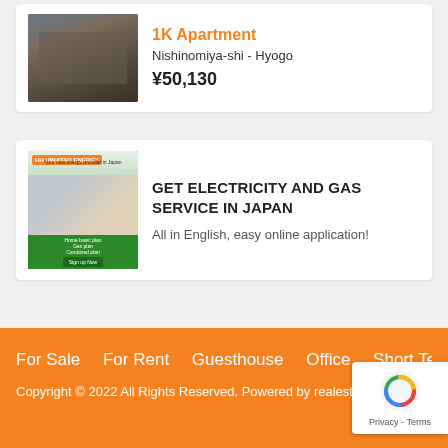[Figure (photo): Card listing: photo of apartment building exterior (grey/brown multi-story building) on left side]
1K Apartment
Nishinomiya-shi - Hyogo
¥50,130
[Figure (photo): Advertisement image: Hinatao Energy promotional banner with people working on laptop and yellow circles, green background]
GET ELECTRICITY AND GAS SERVICE IN JAPAN
All in English, easy online application!
For Sale   For Rent   Guesthouse   Office   Short Term
Copyright © 2022 All Rights Reserved. Powered by realestate...